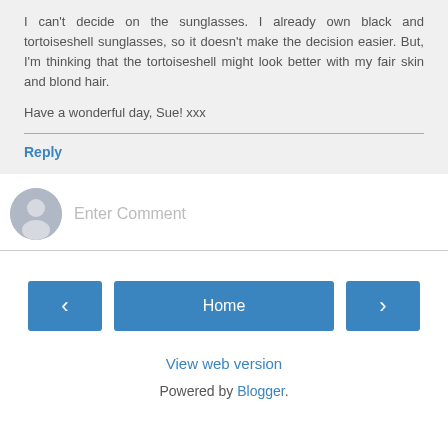I can't decide on the sunglasses. I already own black and tortoiseshell sunglasses, so it doesn't make the decision easier. But, I'm thinking that the tortoiseshell might look better with my fair skin and blond hair.

Have a wonderful day, Sue! xxx
Reply
[Figure (other): User avatar placeholder icon — grey circle with silhouette]
Enter Comment
< Home >
View web version
Powered by Blogger.